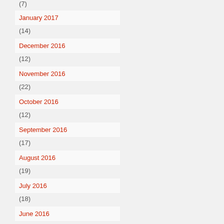(7)
January 2017
(14)
December 2016
(12)
November 2016
(22)
October 2016
(12)
September 2016
(17)
August 2016
(19)
July 2016
(18)
June 2016
(17)
May 2016
(19)
April 2016
(27)